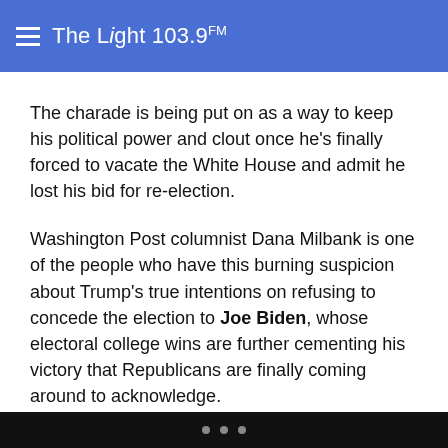The Light 103.9 FM
The charade is being put on as a way to keep his political power and clout once he's finally forced to vacate the White House and admit he lost his bid for re-election.
Washington Post columnist Dana Milbank is one of the people who have this burning suspicion about Trump's true intentions on refusing to concede the election to Joe Biden, whose electoral college wins are further cementing his victory that Republicans are finally coming around to acknowledge.
But Trump has been adamant about the alleged election fraud